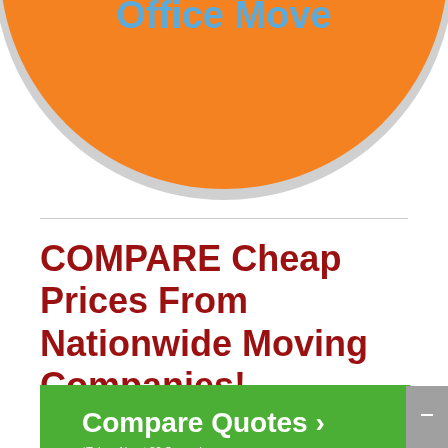[Figure (illustration): Bottom portion of a large orange circle button with 'Office Move' text in light blue, with a white/gray shadow border, on a white background]
COMPARE Cheap Prices From Nationwide Moving Companies!
[Figure (illustration): Green arrow-shaped button with white text 'Compare Quotes >' and smaller text '*Takes About 30 Seconds.........', with a small gray rectangle button on the right edge]